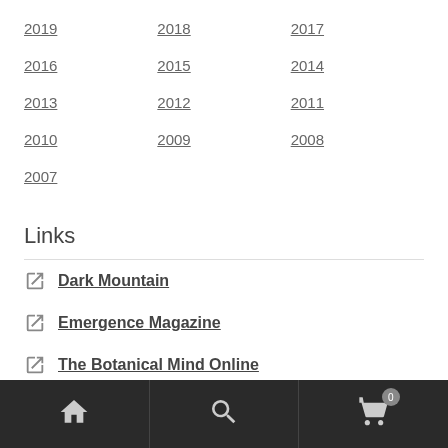2019
2018
2017
2016
2015
2014
2013
2012
2011
2010
2009
2008
2007
Links
Dark Mountain
Emergence Magazine
The Botanical Mind Online
Imaginal Futures
Ashes and Snow exhibition